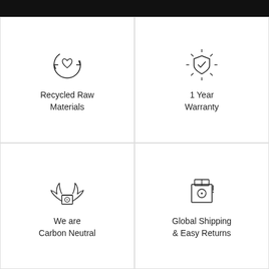[Figure (illustration): Black horizontal banner bar at the top of the page]
[Figure (illustration): Recycling arrows with a heart inside icon]
Recycled Raw Materials
[Figure (illustration): Shield with checkmark and radiating lines warranty icon]
1 Year Warranty
[Figure (illustration): Flying box with wings carbon neutral icon]
We are Carbon Neutral
[Figure (illustration): Shipping box with exclamation mark global shipping icon]
Global Shipping & Easy Returns